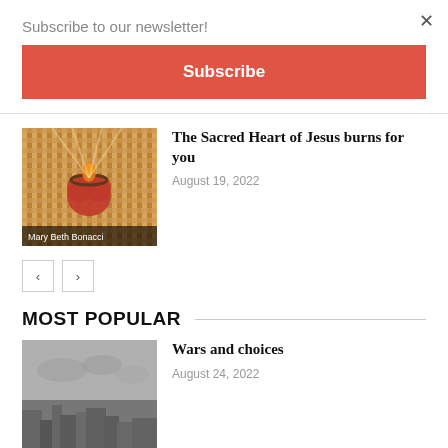Subscribe to our newsletter!
Subscribe
[Figure (photo): Religious mosaic artwork depicting the Sacred Heart of Jesus with a glowing heart]
The Sacred Heart of Jesus burns for you
August 19, 2022
MOST POPULAR
[Figure (photo): Black and white aerial photograph of a city, possibly war-torn landscape]
Wars and choices
August 24, 2022